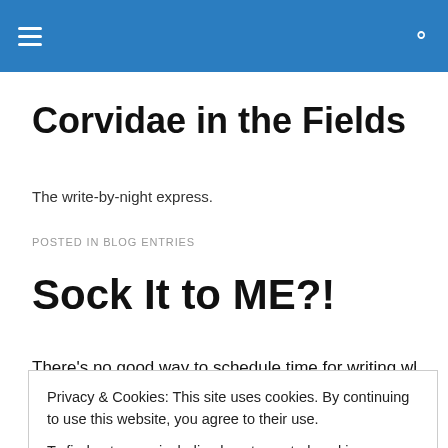Corvidae in the Fields — navigation bar with hamburger menu and search icon
Corvidae in the Fields
The write-by-night express.
POSTED IN BLOG ENTRIES
Sock It to ME?!
There's no good way to schedule time for writing when you
Privacy & Cookies: This site uses cookies. By continuing to use this website, you agree to their use.
To find out more, including how to control cookies, see here: Cookie Policy
Close and accept
where to take the story from a specific point. That's what